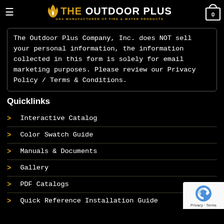THE OUTDOOR PLUS — USA MANUFACTURER OF FIRE & WATER PRODUCTS
The Outdoor Plus Company, Inc. does NOT sell your personal information, the information collected in this form is solely for email marketing purposes. Please review our Privacy Policy / Terms & Conditions.
Quicklinks
Interactive Catalog
Color Swatch Guide
Manuals & Documents
Gallery
PDF Catalogs
Quick Reference Installation Guide